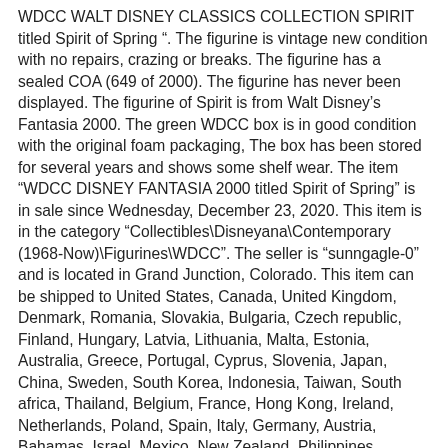WDCC WALT DISNEY CLASSICS COLLECTION SPIRIT titled Spirit of Spring “. The figurine is vintage new condition with no repairs, crazing or breaks. The figurine has a sealed COA (649 of 2000). The figurine has never been displayed. The figurine of Spirit is from Walt Disney’s Fantasia 2000. The green WDCC box is in good condition with the original foam packaging, The box has been stored for several years and shows some shelf wear. The item “WDCC DISNEY FANTASIA 2000 titled Spirit of Spring” is in sale since Wednesday, December 23, 2020. This item is in the category “Collectibles\Disneyana\Contemporary (1968-Now)\Figurines\WDCC”. The seller is “sunngagle-0” and is located in Grand Junction, Colorado. This item can be shipped to United States, Canada, United Kingdom, Denmark, Romania, Slovakia, Bulgaria, Czech republic, Finland, Hungary, Latvia, Lithuania, Malta, Estonia, Australia, Greece, Portugal, Cyprus, Slovenia, Japan, China, Sweden, South Korea, Indonesia, Taiwan, South africa, Thailand, Belgium, France, Hong Kong, Ireland, Netherlands, Poland, Spain, Italy, Germany, Austria, Bahamas, Israel, Mexico, New Zealand, Philippines, Singapore, Switzerland, Norway, Saudi arabia, Ukraine, United arab emirates, Qatar, Kuwait, Bahrain, Croatia, Malaysia, Brazil, Chile, Colombia, Costa rica, Panama, Trinidad and tobago, Guatemala, Honduras, Jamaica, Antigua and barbuda, Aruba, Belize,